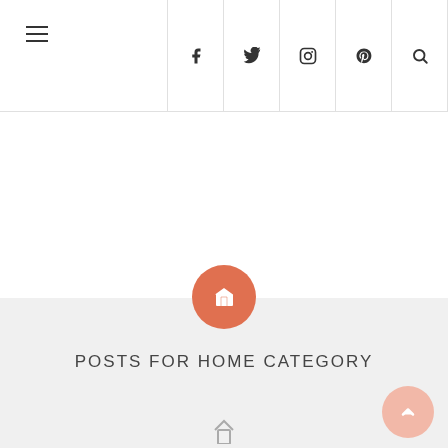Navigation header with hamburger menu and social icons (Facebook, Twitter, Instagram, Pinterest, Search)
[Figure (illustration): Large white blank area below header]
[Figure (illustration): Orange circular button with home icon centered at top of gray banner]
POSTS FOR HOME CATEGORY
[Figure (illustration): Pink back-to-top circular button with upward chevron, bottom right]
[Figure (illustration): Small house/home outline icon at very bottom center]